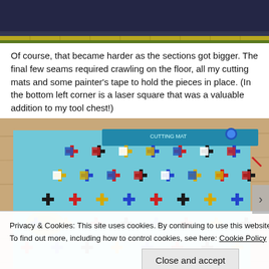[Figure (photo): Top photo showing dark navy/blue fabric with a yellow-green stripe/trim along the bottom edge, on a light background.]
Of course, that became harder as the sections got bigger. The final few seams required crawling on the floor, all my cutting mats and some painter's tape to hold the pieces in place. (In the bottom left corner is a laser square that was a valuable addition to my tool chest!)
[Figure (photo): Photo taken from above showing a colorful quilt or fabric project laid on a wooden floor, featuring a pattern of crosses/plus signs in red, black, yellow, blue, teal, and white colors arranged on a light blue background. A cutting mat and measuring tape are also visible.]
Privacy & Cookies: This site uses cookies. By continuing to use this website, you agree to their use.
To find out more, including how to control cookies, see here: Cookie Policy
Close and accept